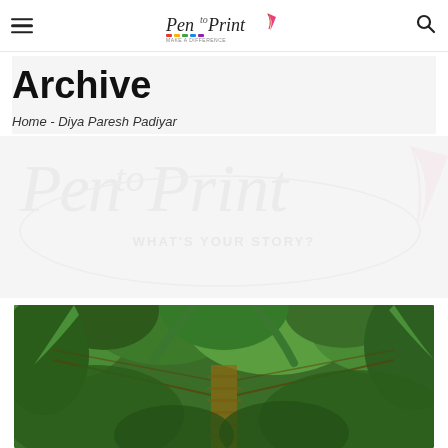Pen to Print — navigation header with hamburger menu, logo, and search icon
Archive
Home - Diya Paresh Padiyar
[Figure (logo): Pen to Print watermark logo with tagline WHAT'S YOUR STORY? displayed as a large faded watermark background]
[Figure (photo): Nature photograph showing a wooden suspension bridge or walkway surrounded by dense tropical green foliage and palm-like trees]